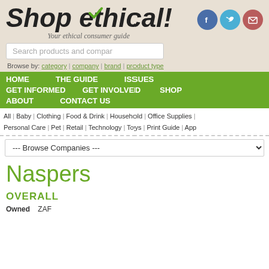Shop ethical! Your ethical consumer guide
Search products and companies | Browse by: category | company | brand | product type
HOME | THE GUIDE | ISSUES | GET INFORMED | GET INVOLVED | SHOP | ABOUT | CONTACT US
All | Baby | Clothing | Food & Drink | Household | Office Supplies | Personal Care | Pet | Retail | Technology | Toys | Print Guide | App
--- Browse Companies ---
Naspers
OVERALL
Owned   ZAF